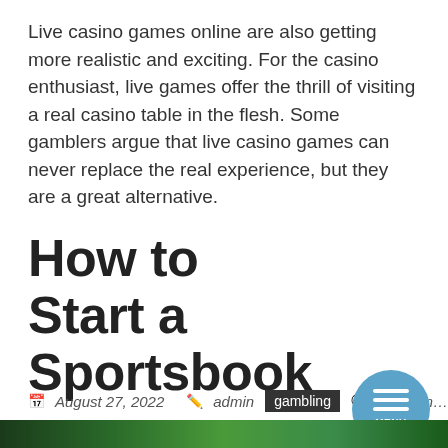Live casino games online are also getting more realistic and exciting. For the casino enthusiast, live games offer the thrill of visiting a real casino table in the flesh. Some gamblers argue that live casino games can never replace the real experience, but they are a great alternative.
How to Start a Sportsbook
August 27, 2022  admin  gambling  No Comments
[Figure (photo): Bottom strip showing a colorful image, appears to be a casino or gambling themed graphic with green and dark tones]